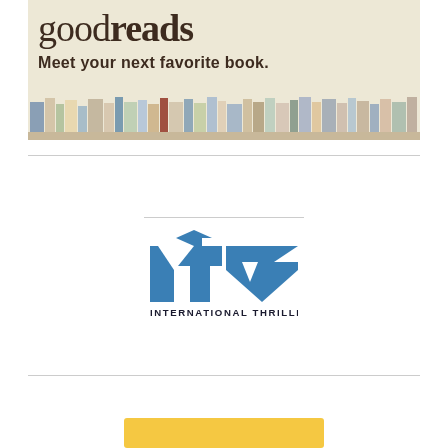[Figure (logo): Goodreads banner with logo text 'goodreads', tagline 'Meet your next favorite book.' and a row of books on a shelf below.]
[Figure (logo): International Thriller Writers (ITW) logo — stylized blue letters 'itw' with geometric shapes and text 'INTERNATIONAL THRILLER WRITERS' below.]
[Figure (other): Partial yellow/gold banner visible at the bottom of the page, cut off.]